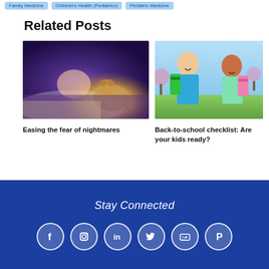Family Medicine | Children's Health (Pediatrics) | Pediatric Medicine
Related Posts
[Figure (photo): Child sleeping in bed with a teddy bear under warm purple-toned lighting]
Easing the fear of nightmares
[Figure (photo): Two school-age girls with backpacks, smiling and running, back-to-school scene]
Back-to-school checklist: Are your kids ready?
Stay Connected — Facebook, Instagram, LinkedIn, Twitter, YouTube, Pinterest